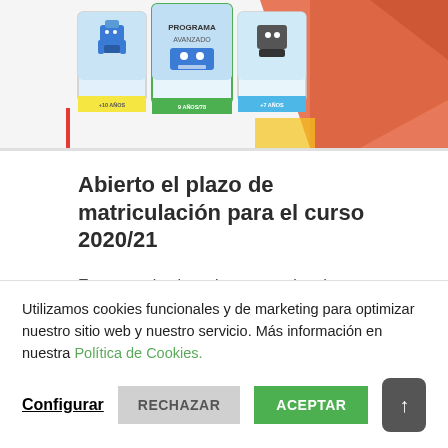[Figure (screenshot): Top banner showing a row of robotics/programming course cards for children with robot images and age badges in yellow, green, and blue. Orange geometric decorative shapes on the right side.]
Abierto el plazo de matriculación para el curso 2020/21
Estos son los horarios y materias de nuestra academia de robótica y programación para niños en Gines (Sevilla) para el curso 2020/21 MATRICULACIÓN GINES Comenzamos [...]
Utilizamos cookies funcionales y de marketing para optimizar nuestro sitio web y nuestro servicio. Más información en nuestra Política de Cookies.
Configurar
RECHAZAR
ACEPTAR